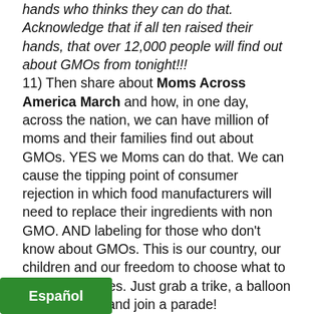hands who thinks they can do that. Acknowledge that if all ten raised their hands, that over 12,000 people will find out about GMOs from tonight!!!
11) Then share about Moms Across America March and how, in one day, across the nation, we can have million of moms and their families find out about GMOs. YES we Moms can do that. We can cause the tipping point of consumer rejection in which food manufacturers will need to replace their ingredients with non GMO. AND labeling for those who don't know about GMOs. This is our country, our children and our freedom to choose what to feed our families. Just grab a trike, a balloon and your kids and join a parade!
Ask who will march by show of hands.
BONUS: If you are really committed to developing your self expression and leadership, I love www.landmarkeducation.com because the courses have [me to] take on leadership in my life that I [thought not] possible. I recommend these courses more
Español